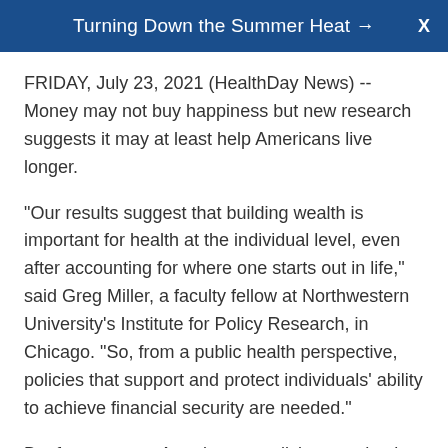Turning Down the Summer Heat →
FRIDAY, July 23, 2021 (HealthDay News) -- Money may not buy happiness but new research suggests it may at least help Americans live longer.
"Our results suggest that building wealth is important for health at the individual level, even after accounting for where one starts out in life," said Greg Miller, a faculty fellow at Northwestern University's Institute for Policy Research, in Chicago. "So, from a public health perspective, policies that support and protect individuals' ability to achieve financial security are needed."
But far too many Americans are living paycheck to paycheck with little or nothing to fall back on in times of need, added Miller, senior author of the new study.